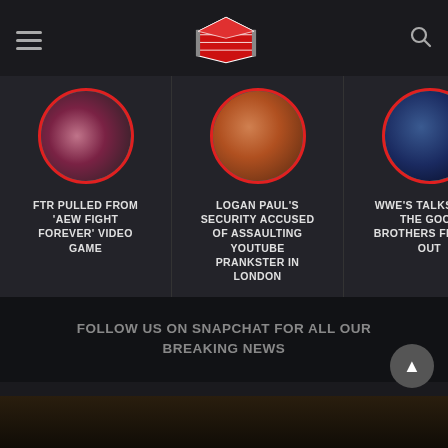[Figure (logo): Wrestling news website header with hamburger menu, wrestling ring logo, and search icon]
[Figure (screenshot): Horizontal carousel of news cards: FTR Pulled From AEW Fight Forever Video Game, Logan Paul's Security Accused of Assaulting YouTube Prankster in London, WWE's Talks With The Good Brothers Fizzled Out, and a partially visible fourth card]
FOLLOW US ON SNAPCHAT FOR ALL OUR BREAKING NEWS
HOME > WWE NEWS >